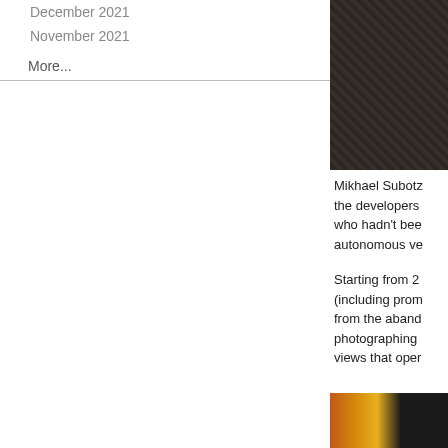December 2021
November 2021
More...
[Figure (photo): Dark monochrome photograph, appears to show industrial or architectural structures with scaffolding or beams]
Mikhael Subotz... the developers... who hadn't bee... autonomous ve...
Starting from 2... (including prom... from the aband... photographing... views that oper...
[Figure (photo): Partial view of a colorful photo with orange, yellow and dark tones at the bottom right]